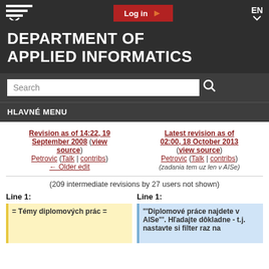Log in | EN
DEPARTMENT OF APPLIED INFORMATICS
Search
HLAVNÉ MENU
Revision as of 14:22, 19 September 2008 (view source)
Petrovic (Talk | contribs)
← Older edit
Latest revision as of 02:00, 18 October 2013 (view source)
Petrovic (Talk | contribs)
(zadania tem uz len v AISe)
(209 intermediate revisions by 27 users not shown)
Line 1:
Line 1:
= Témy diplomových prác =
'''Diplomové práce najdete v AISe'''. Hľadajte dôkladne - t.j. nastavte si filter raz na